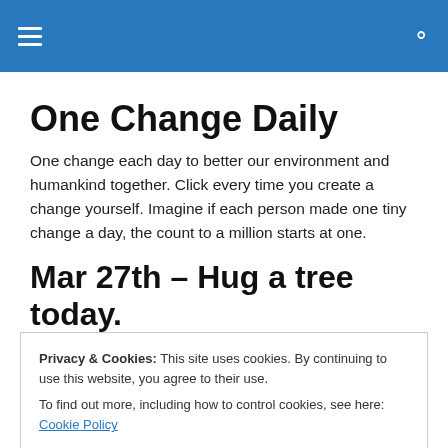One Change Daily
One change each day to better our environment and humankind together. Click every time you create a change yourself. Imagine if each person made one tiny change a day, the count to a million starts at one.
Mar 27th – Hug a tree today.
You can stop snickering :)  If you are too self conscious
Privacy & Cookies: This site uses cookies. By continuing to use this website, you agree to their use.
To find out more, including how to control cookies, see here: Cookie Policy
nature, a simple tree.